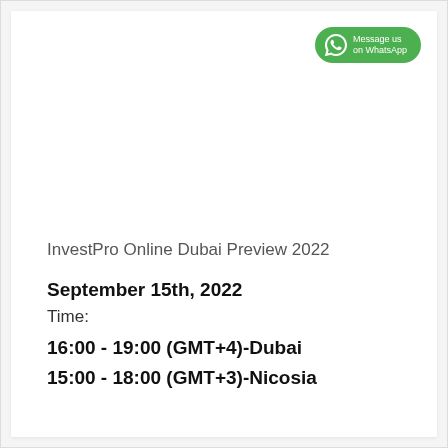[Figure (logo): WhatsApp Message on WhatsApp green button with WhatsApp icon]
InvestPro Online Dubai Preview 2022
September 15th, 2022
Time:
16:00 - 19:00 (GMT+4)-Dubai
15:00 - 18:00 (GMT+3)-Nicosia